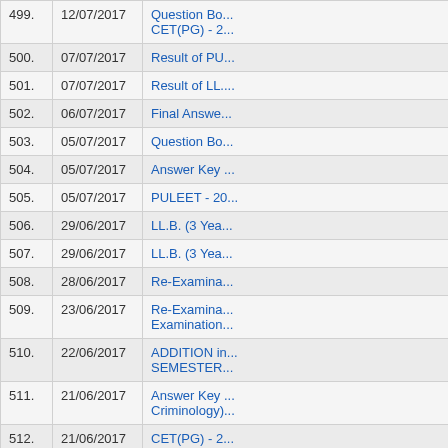| No. | Date | Title |
| --- | --- | --- |
| 499. | 12/07/2017 | Question Bo... CET(PG) - 2... |
| 500. | 07/07/2017 | Result of PU... |
| 501. | 07/07/2017 | Result of LL.... |
| 502. | 06/07/2017 | Final Answe... |
| 503. | 05/07/2017 | Question Bo... |
| 504. | 05/07/2017 | Answer Key ... |
| 505. | 05/07/2017 | PULEET - 20... |
| 506. | 29/06/2017 | LL.B. (3 Yea... |
| 507. | 29/06/2017 | LL.B. (3 Yea... |
| 508. | 28/06/2017 | Re-Examina... |
| 509. | 23/06/2017 | Re-Examina... Examination... |
| 510. | 22/06/2017 | ADDITION i... SEMESTER... |
| 511. | 21/06/2017 | Answer Key ... Criminology)... |
| 512. | 21/06/2017 | CET(PG) - 2... |
|  | 21/06/2017 | CET(PG) - 2... |